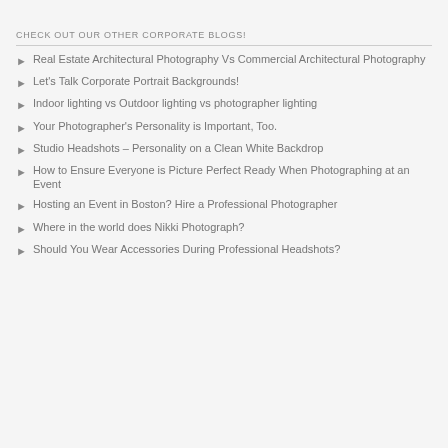CHECK OUT OUR OTHER CORPORATE BLOGS!
Real Estate Architectural Photography Vs Commercial Architectural Photography
Let's Talk Corporate Portrait Backgrounds!
Indoor lighting vs Outdoor lighting vs photographer lighting
Your Photographer's Personality is Important, Too.
Studio Headshots – Personality on a Clean White Backdrop
How to Ensure Everyone is Picture Perfect Ready When Photographing at an Event
Hosting an Event in Boston? Hire a Professional Photographer
Where in the world does Nikki Photograph?
Should You Wear Accessories During Professional Headshots?